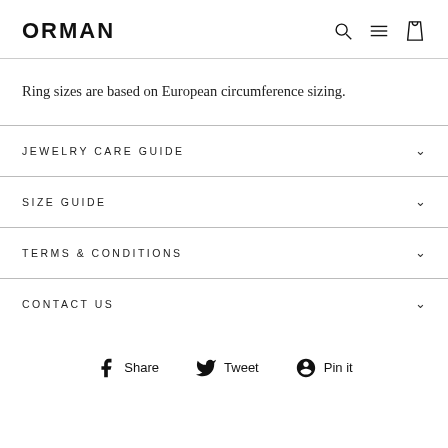ORMAN
Ring sizes are based on European circumference sizing.
JEWELRY CARE GUIDE
SIZE GUIDE
TERMS & CONDITIONS
CONTACT US
Share  Tweet  Pin it